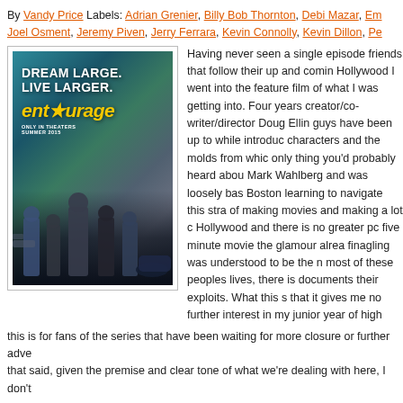By Vandy Price Labels: Adrian Grenier, Billy Bob Thornton, Debi Mazar, Em... Joel Osment, Jeremy Piven, Jerry Ferrara, Kevin Connolly, Kevin Dillon, Pe...
[Figure (photo): Entourage movie poster featuring text 'DREAM LARGE. LIVE LARGER.' and 'entourage' in yellow letters, with five male cast members standing in front of a private jet and sports car on a tarmac.]
Having never seen a single episode friends that follow their up and comin Hollywood I went into the feature film of what I was getting into. Four years creator/co-writer/director Doug Ellin guys have been up to while introduc characters and the molds from whic only thing you'd probably heard abou Mark Wahlberg and was loosely bas Boston learning to navigate this stra of making movies and making a lot c Hollywood and there is no greater pc five minute movie the glamour alrea finagling was understood to be the n most of these peoples lives, there is documents their exploits. What this s that it gives me no further interest in my junior year of high school. Instea this is for fans of the series that have been waiting for more closure or further adve that said, given the premise and clear tone of what we're dealing with here, I don't